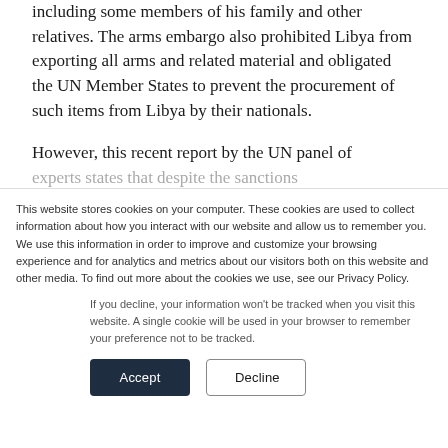including some members of his family and other relatives. The arms embargo also prohibited Libya from exporting all arms and related material and obligated the UN Member States to prevent the procurement of such items from Libya by their nationals.
However, this recent report by the UN panel of experts states that despite the sanctions...
This website stores cookies on your computer. These cookies are used to collect information about how you interact with our website and allow us to remember you. We use this information in order to improve and customize your browsing experience and for analytics and metrics about our visitors both on this website and other media. To find out more about the cookies we use, see our Privacy Policy.
If you decline, your information won’t be tracked when you visit this website. A single cookie will be used in your browser to remember your preference not to be tracked.